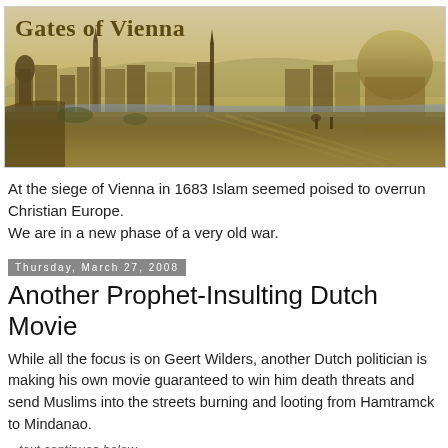[Figure (illustration): Banner image of 'Gates of Vienna' website header showing a historical panoramic painting of Vienna's cityscape with the title 'Gates of Vienna' overlaid in bold serif text.]
At the siege of Vienna in 1683 Islam seemed poised to overrun Christian Europe.
We are in a new phase of a very old war.
Thursday, March 27, 2008
Another Prophet-Insulting Dutch Movie
While all the focus is on Geert Wilders, another Dutch politician is making his own movie guaranteed to win him death threats and send Muslims into the streets burning and looting from Hamtramck to Mindanao.
...